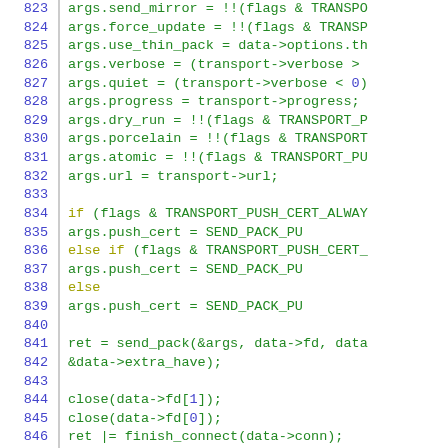[Figure (screenshot): Source code listing in C showing lines 823-852, with blue line numbers on the left, a vertical divider, and green monospace code on the right. Keywords like 'if', 'else', 'return' are highlighted in yellow-green.]